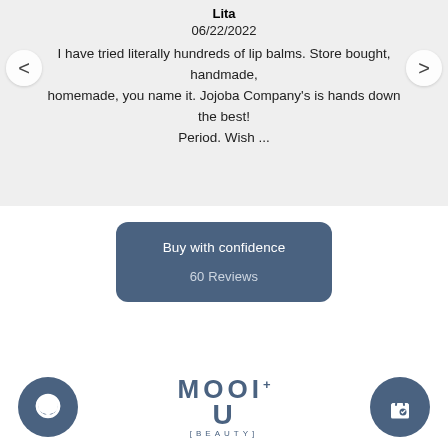Lita
06/22/2022
I have tried literally hundreds of lip balms. Store bought, handmade, homemade, you name it. Jojoba Company's is hands down the best! Period. Wish ...
Buy with confidence
60 Reviews
[Figure (logo): MOOI+ U [BEAUTY] logo in slate blue, flanked by two circular icon buttons (chat and shopping bag)]